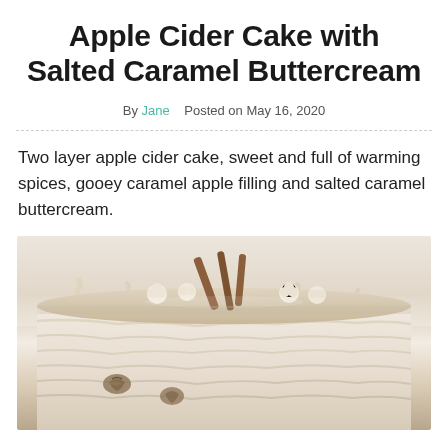Apple Cider Cake with Salted Caramel Buttercream
By Jane   Posted on May 16, 2020
Two layer apple cider cake, sweet and full of warming spices, gooey caramel apple filling and salted caramel buttercream.
[Figure (photo): Close-up photo of an apple cider cake with salted caramel buttercream, showing piped frosting rosettes and cinnamon sticks on top, with a rustic textured cream frosting on the sides and walnut pieces embedded in the frosting.]